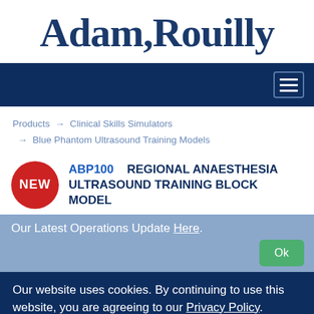[Figure (logo): Adam,Rouilly company logo in dark blue serif font]
[Figure (screenshot): Dark navy navigation bar with hamburger menu icon (three horizontal lines) in top right]
Products → Clinical Skills Simulators → Blue Phantom Ultrasound Training Models
ABP100   REGIONAL ANAESTHESIA ULTRASOUND TRAINING BLOCK MODEL
Our Latest Operations Update Here.
Our website uses cookies. By continuing to use this website, you are agreeing to our Privacy Policy.